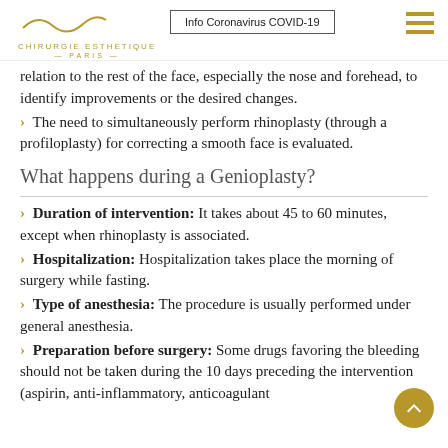Info Coronavirus COVID-19
relation to the rest of the face, especially the nose and forehead, to identify improvements or the desired changes.
> The need to simultaneously perform rhinoplasty (through a profiloplasty) for correcting a smooth face is evaluated.
What happens during a Genioplasty?
> Duration of intervention: It takes about 45 to 60 minutes, except when rhinoplasty is associated.
> Hospitalization: Hospitalization takes place the morning of surgery while fasting.
> Type of anesthesia: The procedure is usually performed under general anesthesia.
> Preparation before surgery: Some drugs favoring the bleeding should not be taken during the 10 days preceding the intervention (aspirin, anti-inflammatory, anticoagulant